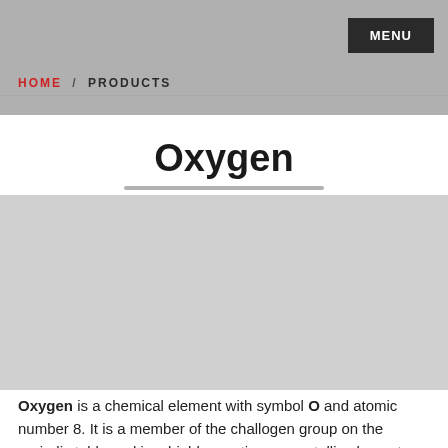MENU
HOME / PRODUCTS
Oxygen
[Figure (photo): Gray placeholder image area for Oxygen element illustration]
Oxygen is a chemical element with symbol O and atomic number 8. It is a member of the challogen group on the periodic table and is a highly reactive nonmetallic element and oxidizing agent that readily forms compounds (notablyoxides) with most elements. By mass, oxygen is the third-most abundant element in the universe,